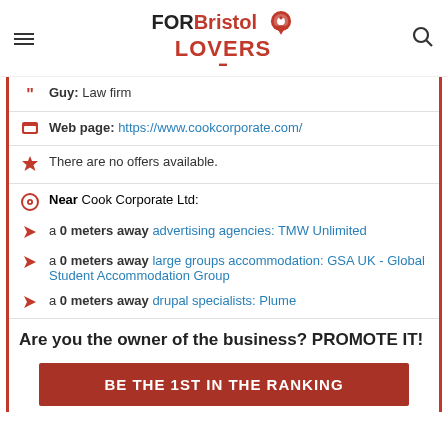FORBristol LOVERS
Guy: Law firm
Web page: https://www.cookcorporate.com/
There are no offers available.
Near Cook Corporate Ltd:
a 0 meters away advertising agencies: TMW Unlimited
a 0 meters away large groups accommodation: GSA UK - Global Student Accommodation Group
a 0 meters away drupal specialists: Plume
Are you the owner of the business? PROMOTE IT!
BE THE 1ST IN THE RANKING